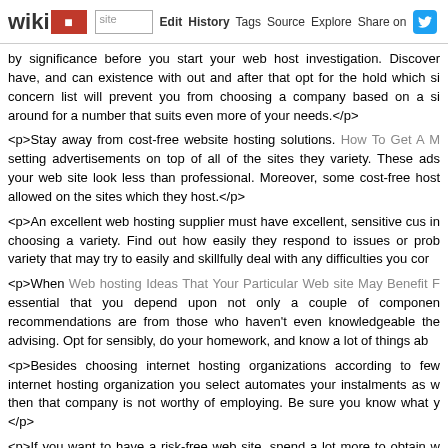wikidot | site | Edit | History | Tags | Source | Explore | Share on Twitter
by significance before you start your web host investigation. Discover have, and can existence with out and after that opt for the hold which si concern list will prevent you from choosing a company based on a si around for a number that suits even more of your needs.</p>
<p>Stay away from cost-free website hosting solutions. How To Get A M setting advertisements on top of all of the sites they variety. These ads your web site look less than professional. Moreover, some cost-free host allowed on the sites which they host.</p>
<p>An excellent web hosting supplier must have excellent, sensitive cus in choosing a variety. Find out how easily they respond to issues or prob variety that may try to easily and skillfully deal with any difficulties you cor
<p>When Web hosting Ideas That Your Particular Web site May Benefit F essential that you depend upon not only a couple of componen recommendations are from those who haven't even knowledgeable the advising. Opt for sensibly, do your homework, and know a lot of things ab
<p>Besides choosing internet hosting organizations according to few internet hosting organization you select automates your instalments as w then that company is not worthy of employing. Be sure you know what y </p>
<p>If you want to have a risk-free web site, spend a lot more to obtain w Your customers will find the certificate notice on the internet site and defi personal data.</p>
<p>Spend some time to research internet hosts on the net or on specifi few alternatives. You will find too many website hosts, to accomplish st